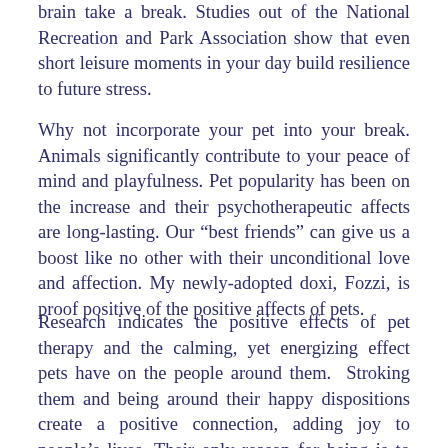brain take a break. Studies out of the National Recreation and Park Association show that even short leisure moments in your day build resilience to future stress.
Why not incorporate your pet into your break. Animals significantly contribute to your peace of mind and playfulness. Pet popularity has been on the increase and their psychotherapeutic affects are long-lasting. Our “best friends” can give us a boost like no other with their unconditional love and affection. My newly-adopted doxi, Fozzi, is proof positive of the positive affects of pets.
Research indicates the positive effects of pet therapy and the calming, yet energizing effect pets have on the people around them.  Stroking them and being around their happy dispositions create a positive connection, adding joy to people’s lives. Their only reason for being is to enjoy life. Why not